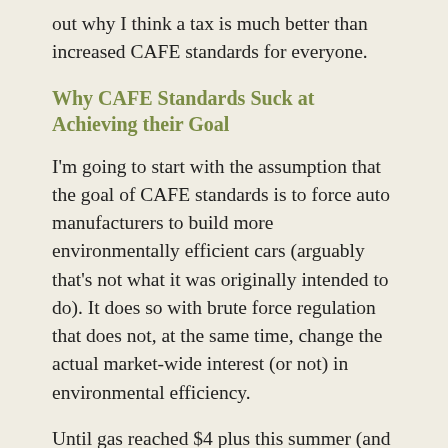out why I think a tax is much better than increased CAFE standards for everyone.
Why CAFE Standards Suck at Achieving their Goal
I'm going to start with the assumption that the goal of CAFE standards is to force auto manufacturers to build more environmentally efficient cars (arguably that's not what it was originally intended to do). It does so with brute force regulation that does not, at the same time, change the actual market-wide interest (or not) in environmental efficiency.
Until gas reached $4 plus this summer (and things are returning–though haven't entirely returned–to where they were now that gas has gotten cheaper again), people calculated "energy efficiency" into their considerations when buying a car in terms of